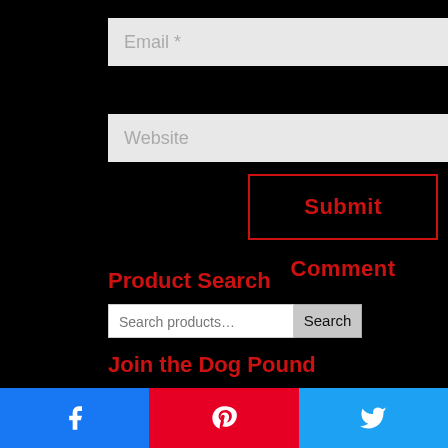[Figure (screenshot): Email input field with placeholder text 'Email *' on dark background]
[Figure (screenshot): Website input field with placeholder text 'Website' on dark background]
[Figure (screenshot): Submit Comment button with red border and red text on dark background]
Product Search
[Figure (screenshot): Search products input field with Search button]
Join the Dog Pound
[Figure (screenshot): Social sharing buttons: Facebook, Pinterest, Twitter]